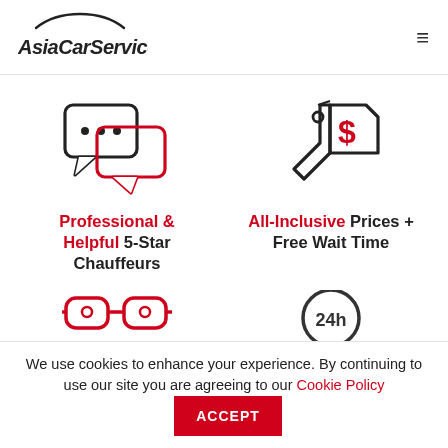[Figure (logo): AsiaCarService logo with car silhouette above italic bold text]
[Figure (illustration): Two speech bubbles icon (one with ellipsis, one red outline) representing professional chauffeurs]
Professional & Helpful 5-Star Chauffeurs
[Figure (illustration): Price tag icon with dollar sign representing all-inclusive prices]
All-Inclusive Prices + Free Wait Time
[Figure (illustration): Glasses/mask icon (red) partially visible at bottom]
[Figure (illustration): Clock/24h icon partially visible at bottom]
We use cookies to enhance your experience. By continuing to use our site you are agreeing to our Cookie Policy ACCEPT